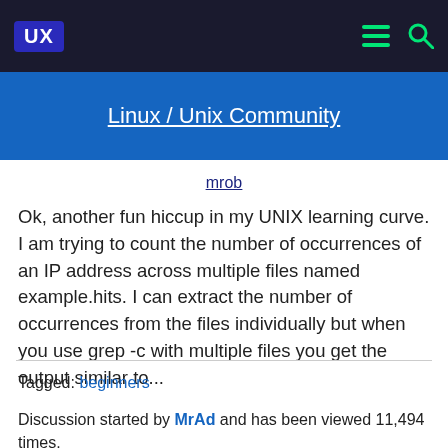UX | Linux / Unix Community
mrob
Ok, another fun hiccup in my UNIX learning curve. I am trying to count the number of occurrences of an IP address across multiple files named example.hits. I can extract the number of occurrences from the files individually but when you use grep -c with multiple files you get the output similar to...
Tagged: beginners
Discussion started by MrAd and has been viewed 11,494 times.